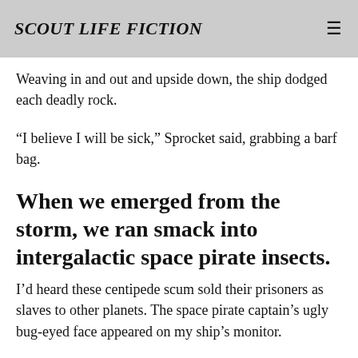SCOUT LIFE FICTION
Weaving in and out and upside down, the ship dodged each deadly rock.
“I believe I will be sick,” Sprocket said, grabbing a barf bag.
When we emerged from the storm, we ran smack into intergalactic space pirate insects.
I’d heard these centipede scum sold their prisoners as slaves to other planets. The space pirate captain’s ugly bug-eyed face appeared on my ship’s monitor.